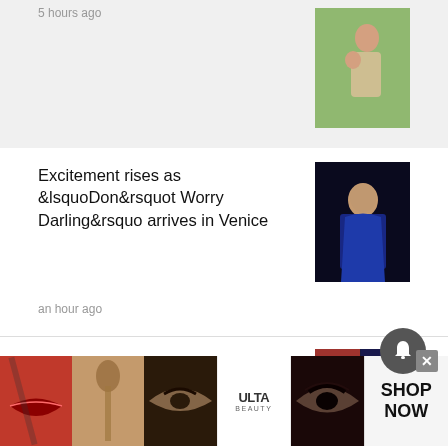5 hours ago
[Figure (photo): Woman in floral dress holding a baby outdoors]
Excitement rises as &lsquoDon&rsquot Worry Darling&rsquo arrives in Venice
an hour ago
[Figure (photo): Woman in blue outfit on dark background]
Biden assails 'Trumpies' in Labor Day battleground pitches
13 mins ago
[Figure (photo): Biden with crowd, people in red shirts]
New this week: John Legend 'Serpent Queen' and 'Pinocchio'
4 hours ago
[Figure (photo): Movie poster collage including Edge, La Llorona and other films]
[Figure (photo): Ulta Beauty advertisement banner with makeup imagery and SHOP NOW call to action]
Home  Trending  Sections